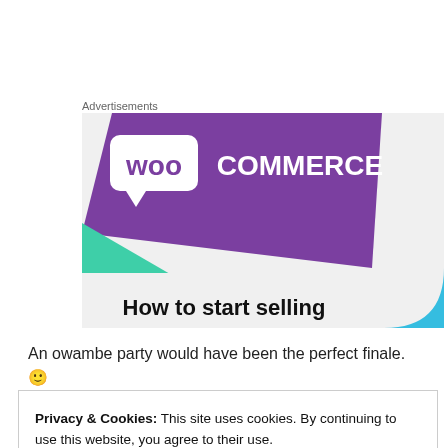Advertisements
[Figure (illustration): WooCommerce advertisement banner showing the WooCommerce logo on a purple background with teal and blue geometric shapes, and the text 'How to start selling' at the bottom]
An owambe party would have been the perfect finale. 🙂
Privacy & Cookies: This site uses cookies. By continuing to use this website, you agree to their use.
To find out more, including how to control cookies, see here: Cookie Policy
Close and accept